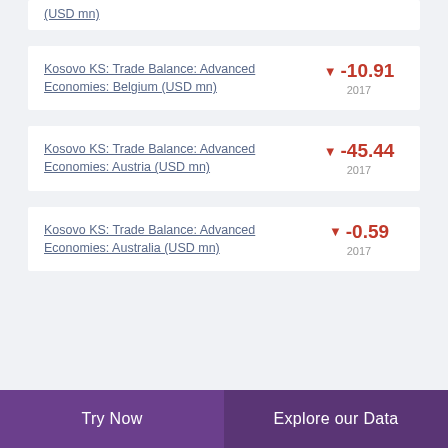(USD mn)
Kosovo KS: Trade Balance: Advanced Economies: Belgium (USD mn) ▼ -10.91 2017
Kosovo KS: Trade Balance: Advanced Economies: Austria (USD mn) ▼ -45.44 2017
Kosovo KS: Trade Balance: Advanced Economies: Australia (USD mn) ▼ -0.59 2017
Try Now | Explore our Data